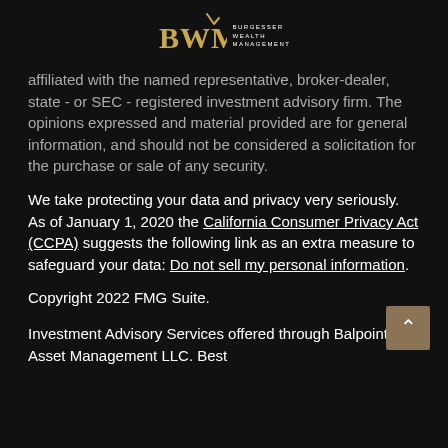BWM BURGESSER WEALTH MANAGEMENT
affiliated with the named representative, broker-dealer, state - or SEC - registered investment advisory firm. The opinions expressed and material provided are for general information, and should not be considered a solicitation for the purchase or sale of any security.
We take protecting your data and privacy very seriously. As of January 1, 2020 the California Consumer Privacy Act (CCPA) suggests the following link as an extra measure to safeguard your data: Do not sell my personal information.
Copyright 2022 FMG Suite.
Investment Advisory Services offered through Balpointe Asset Management LLC. Best...